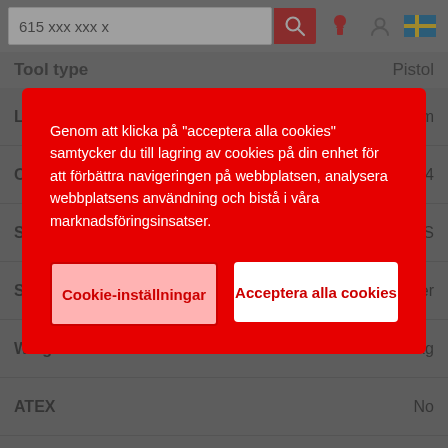615 xxx xxx x
Genom att klicka på "acceptera alla cookies" samtycker du till lagring av cookies på din enhet för att förbättra navigeringen på webbplatsen, analysera webbplatsens användning och bistå i våra marknadsföringsinsatser.
| Attribute | Value |
| --- | --- |
| Length (L) | 228 mm |
| Output drive size (in) | 1/4 |
| Subfamily | Shut off FAS |
| Starting system | Trigger |
| Weight | 0.86 kg |
| ATEX | No |